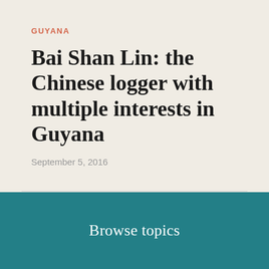GUYANA
Bai Shan Lin: the Chinese logger with multiple interests in Guyana
September 5, 2016
Browse topics